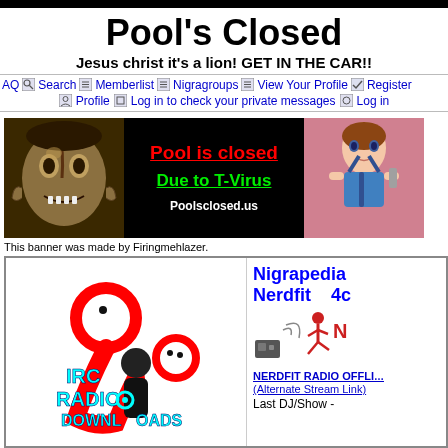Pool's Closed
Jesus christ it's a lion! GET IN THE CAR!!
FAQ  Search  Memberlist  Nigragroups  View Your Profile  Register  Profile  Log in to check your private messages  Log in
[Figure (illustration): Banner image with zombie face on left, center black background with text 'Pool is closed Due to T-Virus Poolsclosed.us', anime character on right]
This banner was made by Firingmehlazer.
[Figure (illustration): Stick figure cartoon with IRC RADIO DOWNLOADS text in cyan, large red outlined figure holding smaller figure]
Nigrapedia Nerdfit 4c
NERDFIT RADIO OFFLINE (Alternate Stream Link) Last DJ/Show -